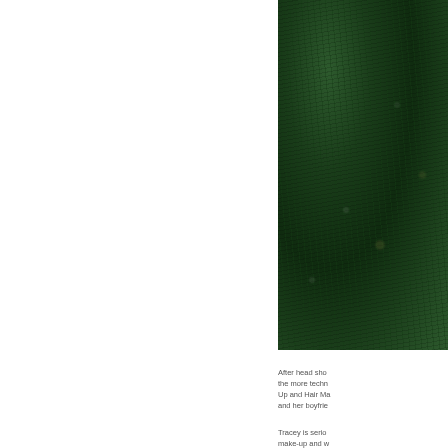[Figure (photo): Close-up photograph of dark green grass, textured and dense, viewed from above. The grass appears to be a fine-bladed variety with some light-colored debris scattered throughout.]
After head shots we moved onto the more technical Make-Up and Hair Make-Up and Hair Make Up and Hair Make-up and her boyfrie...
Tracey is serio... make-up and w...